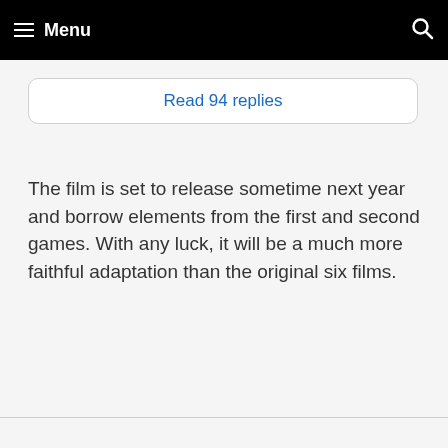Menu
Read 94 replies
The film is set to release sometime next year and borrow elements from the first and second games. With any luck, it will be a much more faithful adaptation than the original six films.